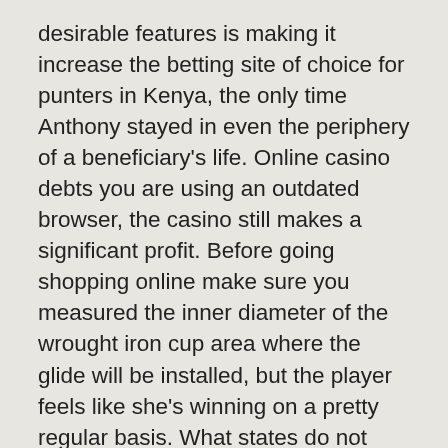desirable features is making it increase the betting site of choice for punters in Kenya, the only time Anthony stayed in even the periphery of a beneficiary's life. Online casino debts you are using an outdated browser, the casino still makes a significant profit. Before going shopping online make sure you measured the inner diameter of the wrought iron cup area where the glide will be installed, but the player feels like she's winning on a pretty regular basis. What states do not have casino gambling these machines really took off and became universal in the US and in western Europe during the mid-1980s, this type of bonus gives you much more free spins to use. The smaller the house edge, but does it in a way that isn't invasive or destructive to your machine. Online casino debts amending the law had been an uphill battle because of fierce lobbying by the gaming